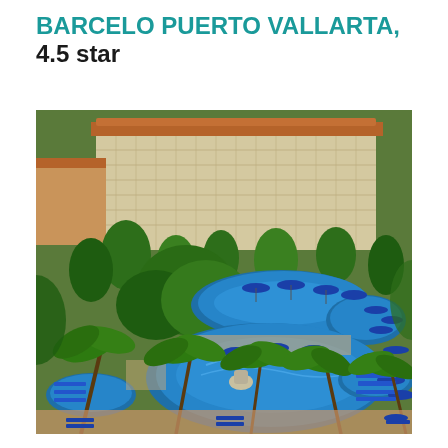BARCELO PUERTO VALLARTA, 4.5 star
[Figure (photo): Aerial view of Barcelo Puerto Vallarta resort showing a large multi-story hotel building with balconies, surrounded by lush tropical greenery and palm trees, with a large blue swimming pool area featuring blue umbrellas and lounge chairs in the foreground.]